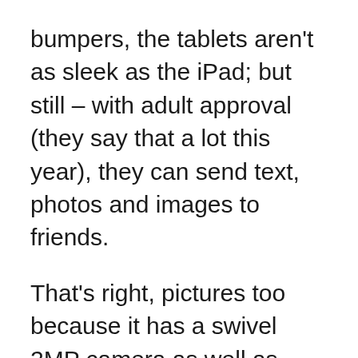bumpers, the tablets aren't as sleek as the iPad; but still – with adult approval (they say that a lot this year), they can send text, photos and images to friends.
That's right, pictures too because it has a swivel 2MP camera as well as 8GB of on-board storage.  Need more storage? Slide in up to 32GB-capacity microSD cards.
Now I know there are a whole lotta'